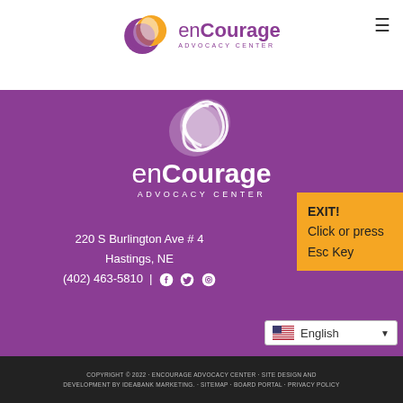[Figure (logo): enCourage Advocacy Center logo with circular symbol in purple and gold, text 'enCourage ADVOCACY CENTER' in purple]
[Figure (logo): enCourage Advocacy Center white logo on purple background with circular symbol]
220 S Burlington Ave # 4
Hastings, NE
(402) 463-5810 | Facebook Twitter Instagram
EXIT!
Click or press
Esc Key
English
COPYRIGHT © 2022 · ENCOURAGE ADVOCACY CENTER · SITE DESIGN AND DEVELOPMENT BY IDEABANK MARKETING. · SITEMAP · BOARD PORTAL · PRIVACY POLICY